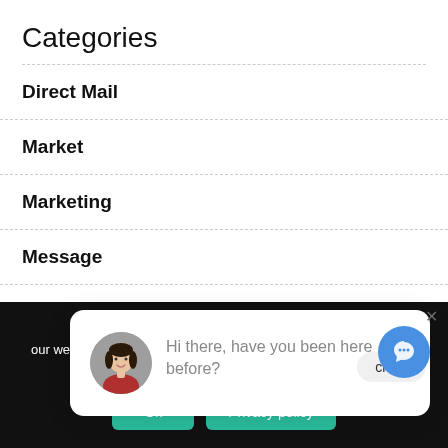Categories
Direct Mail
Market
Marketing
Message
Mindset
Podcast
Premier Positionin…
close
[Figure (photo): Chat popup with avatar photo of a woman with dark hair, and text: Hi there, have you been here before?]
Hi there, have you been here before?
We use cookies to… our website. If you continue to use this site we will assume that you are happy with it.
Ok
Privacy policy